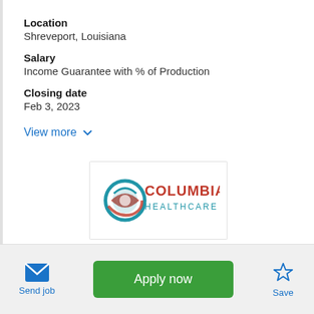Location
Shreveport, Louisiana
Salary
Income Guarantee with % of Production
Closing date
Feb 3, 2023
View more
[Figure (logo): Columbia Healthcare logo with circular globe icon in blue and red, text COLUMBIA HEALTHCARE in red and blue]
Send job
Apply now
Save